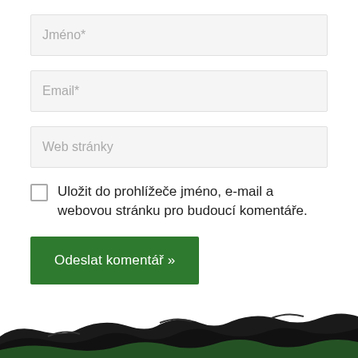Jméno*
Email*
Web stránky
Uložit do prohlížeče jméno, e-mail a webovou stránku pro budoucí komentáře.
Odeslat komentář »
[Figure (illustration): Decorative footer wave illustration in black and dark green colors at the bottom of the page.]